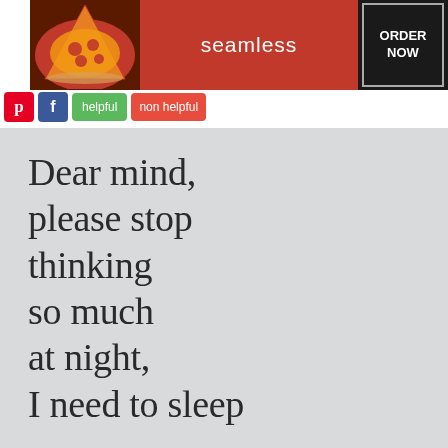[Figure (screenshot): Seamless food delivery advertisement banner with pizza image on left, red background with 'seamless' text in center, and 'ORDER NOW' button on right]
[Figure (screenshot): Social sharing bar with Pinterest (red P), Facebook (blue f), green 'helpful' button, and red 'non helpful' button]
Dear mind, please stop thinking so much at night, I need to sleep